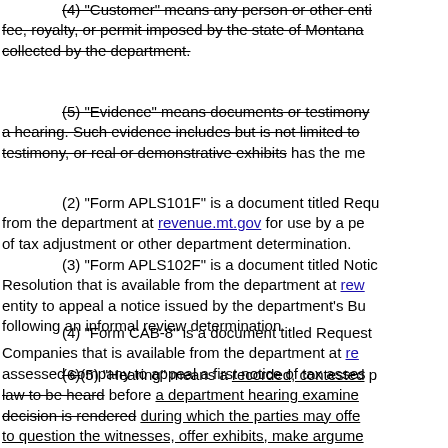(4) "Customer" means any person or other entity fee, royalty, or permit imposed by the state of Montana collected by the department.
(5) "Evidence" means documents or testimony at a hearing. Such evidence includes but is not limited to testimony, or real or demonstrative exhibits has the me
(2) "Form APLS101F" is a document titled Requ from the department at revenue.mt.gov for use by a pe of tax adjustment or other department determination.
(3) "Form APLS102F" is a document titled Notic Resolution that is available from the department at rev entity to appeal a notice issued by the department's Bu following an informal review determination.
(4) "Form CAB-8" is a document titled Request Companies that is available from the department at re assessed company to appeal a first notice of tax asses
(6)(5) "Hearing" means a recorded, contested p law to be heard before a department hearing examiner decision is rendered during which the parties may offe to question the witnesses, offer exhibits, make argume
(7)(6) "Hearing examiner" means, within the co Resolution, either a finder of fact or mediator. When se examiner" performs an adjudicatory function. A hearin involves a proceeding addressing specific issues of fa parties have the right to offer testimony and evidence.